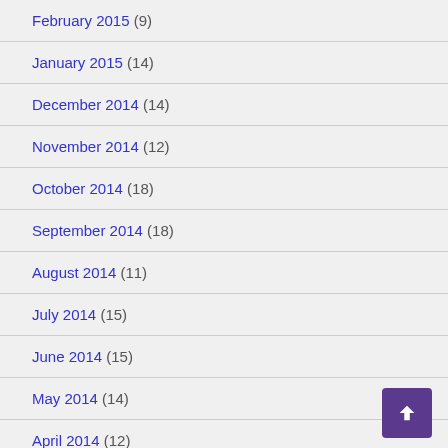February 2015 (9)
January 2015 (14)
December 2014 (14)
November 2014 (12)
October 2014 (18)
September 2014 (18)
August 2014 (11)
July 2014 (15)
June 2014 (15)
May 2014 (14)
April 2014 (12)
March 2014 (11)